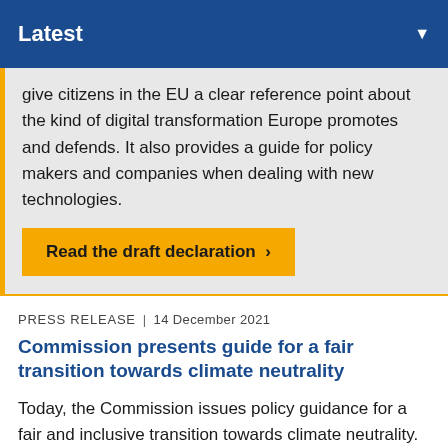Latest
give citizens in the EU a clear reference point about the kind of digital transformation Europe promotes and defends. It also provides a guide for policy makers and companies when dealing with new technologies.
Read the draft declaration >
PRESS RELEASE | 14 December 2021
Commission presents guide for a fair transition towards climate neutrality
Today, the Commission issues policy guidance for a fair and inclusive transition towards climate neutrality.